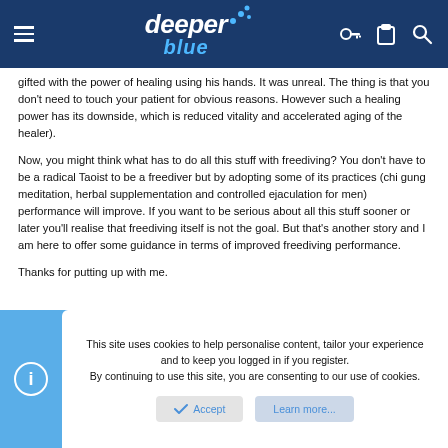deeper blue
gifted with the power of healing using his hands. It was unreal. The thing is that you don't need to touch your patient for obvious reasons. However such a healing power has its downside, which is reduced vitality and accelerated aging of the healer).
Now, you might think what has to do all this stuff with freediving? You don't have to be a radical Taoist to be a freediver but by adopting some of its practices (chi gung meditation, herbal supplementation and controlled ejaculation for men) performance will improve. If you want to be serious about all this stuff sooner or later you'll realise that freediving itself is not the goal. But that's another story and I am here to offer some guidance in terms of improved freediving performance.
Thanks for putting up with me.
This site uses cookies to help personalise content, tailor your experience and to keep you logged in if you register.
By continuing to use this site, you are consenting to our use of cookies.